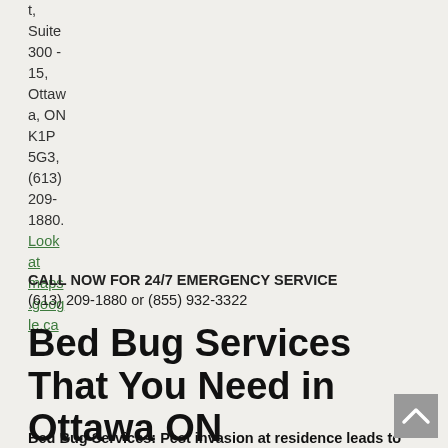t, Suite 300 - 15, Ottawa, ON K1P 5G3, (613) 209-1880. Look at maps.google.ca
CALL NOW FOR 24/7 EMERGENCY SERVICE
(613) 209-1880 or (855) 932-3322
Bed Bug Services That You Need in Ottawa ON
Bed Bug Services: Pest invasion at residence leads to